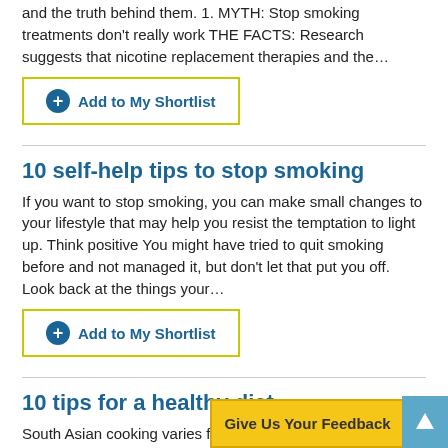and the truth behind them. 1. MYTH: Stop smoking treatments don't really work THE FACTS: Research suggests that nicotine replacement therapies and the…
Add to My Shortlist
10 self-help tips to stop smoking
If you want to stop smoking, you can make small changes to your lifestyle that may help you resist the temptation to light up. Think positive You might have tried to quit smoking before and not managed it, but don't let that put you off. Look back at the things your…
Add to My Shortlist
10 tips for a healthy diet
South Asian cooking varies from country to country. As with all cooking, it can be made healthier without sacrificing taste. Try these 10 tips for healthier eating. Making a few changes to your ingredients or ways of cooking, such as reducing the amount of fat, salt and…
Give Us Your Feedback